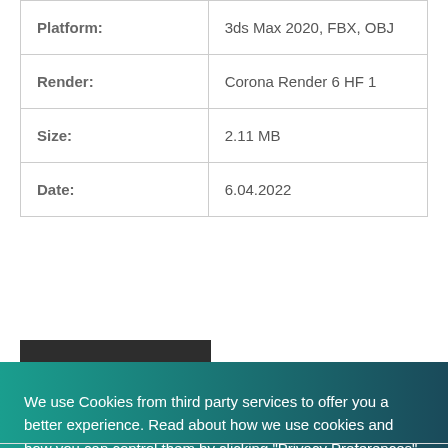|  |  |
| --- | --- |
| Platform: | 3ds Max 2020, FBX, OBJ |
| Render: | Corona Render 6 HF 1 |
| Size: | 2.11 MB |
| Date: | 6.04.2022 |
ADD TO CART
We use Cookies from third party services to offer you a better experience. Read about how we use cookies and how you can control them by clicking "Privacy Preferences".
Privacy Preferences
I Agree